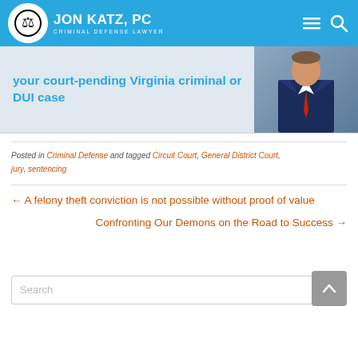JON KATZ, PC — Criminal Defense Lawyer
[Figure (screenshot): Banner with text about court-pending Virginia criminal or DUI case and attorney photo]
Posted in Criminal Defense and tagged Circuit Court, General District Court, jury, sentencing
← A felony theft conviction is not possible without proof of value
Confronting Our Demons on the Road to Success →
Search